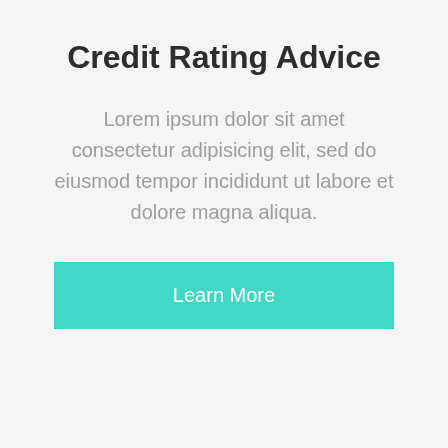Credit Rating Advice
Lorem ipsum dolor sit amet consectetur adipisicing elit, sed do eiusmod tempor incididunt ut labore et dolore magna aliqua.
Learn More